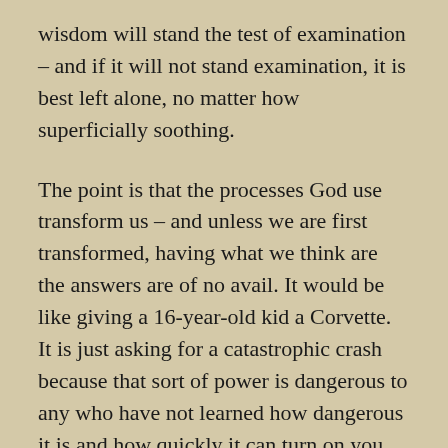wisdom will stand the test of examination – and if it will not stand examination, it is best left alone, no matter how superficially soothing.
The point is that the processes God use transform us – and unless we are first transformed, having what we think are the answers are of no avail. It would be like giving a 16-year-old kid a Corvette. It is just asking for a catastrophic crash because that sort of power is dangerous to any who have not learned how dangerous it is and how quickly it can turn on you.
It is our hearts in which God is sowing His good now. The terrors around you, the trials